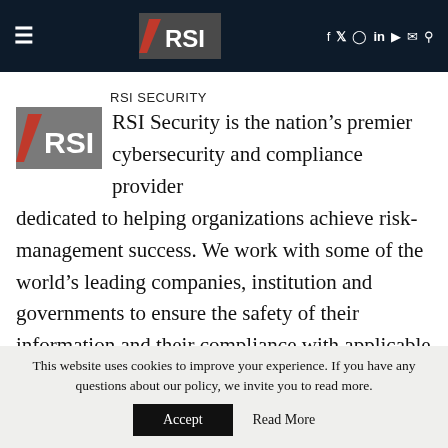RSI Security navigation bar with logo and social media icons
RSI SECURITY
[Figure (logo): RSI Security logo — grey rectangle with white RSI text and red diagonal slash]
RSI Security is the nation’s premier cybersecurity and compliance provider dedicated to helping organizations achieve risk-management success. We work with some of the world’s leading companies, institution and governments to ensure the safety of their information and their compliance with applicable regulation. We also are a security and compliance software ISV and stay at the forefront of innovative
This website uses cookies to improve your experience. If you have any questions about our policy, we invite you to read more.
Accept   Read More